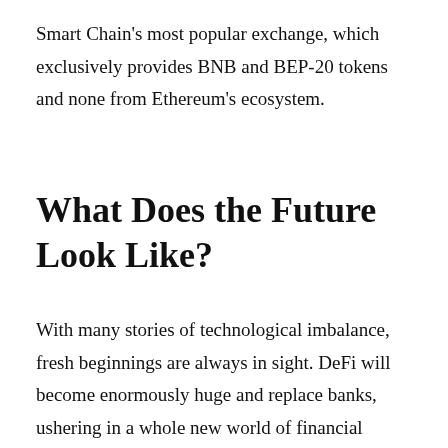Smart Chain's most popular exchange, which exclusively provides BNB and BEP-20 tokens and none from Ethereum's ecosystem.
What Does the Future Look Like?
With many stories of technological imbalance, fresh beginnings are always in sight. DeFi will become enormously huge and replace banks, ushering in a whole new world of financial institutions; nevertheless, there is still a long way to go. Despite significant growth, the sector is still in its infancy